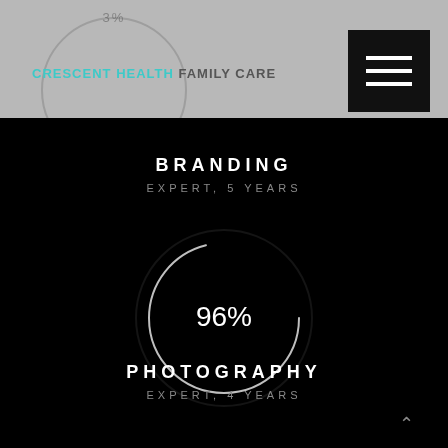CRESCENT HEALTH FAMILY CARE
BRANDING
EXPERT, 5 YEARS
[Figure (donut-chart): Branding skill level]
PHOTOGRAPHY
EXPERT, 4 YEARS